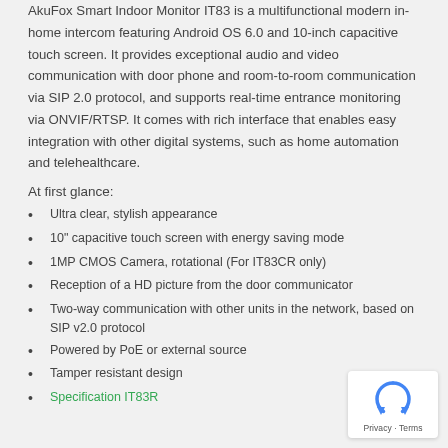AkuFox Smart Indoor Monitor IT83 is a multifunctional modern in-home intercom featuring Android OS 6.0 and 10-inch capacitive touch screen. It provides exceptional audio and video communication with door phone and room-to-room communication via SIP 2.0 protocol, and supports real-time entrance monitoring via ONVIF/RTSP. It comes with rich interface that enables easy integration with other digital systems, such as home automation and telehealthcare.
At first glance:
Ultra clear, stylish appearance
10" capacitive touch screen with energy saving mode
1MP CMOS Camera, rotational (For IT83CR only)
Reception of a HD picture from the door communicator
Two-way communication with other units in the network, based on SIP v2.0 protocol
Powered by PoE or external source
Tamper resistant design
Specification IT83R